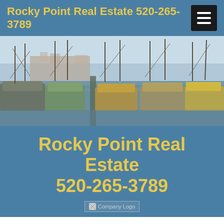Rocky Point Real Estate 520-265-3789
[Figure (photo): Fishing boats docked at a harbor in Rocky Point (Puerto Peñasco), Mexico. Multiple vessels moored in calm water with a town visible in the background.]
Rocky Point Real Estate 520-265-3789
[Figure (logo): Company Logo placeholder image]
GEORGIESREALTY.COM › CASA DE CAROLINA AV. OSTIONES Y CINITA LAS CONCHAS
Request More Info